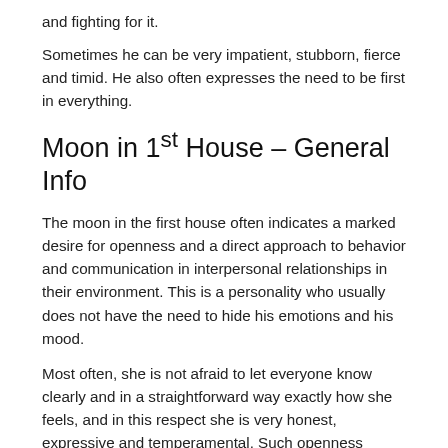and fighting for it.
Sometimes he can be very impatient, stubborn, fierce and timid. He also often expresses the need to be first in everything.
Moon in 1st House – General Info
The moon in the first house often indicates a marked desire for openness and a direct approach to behavior and communication in interpersonal relationships in their environment. This is a personality who usually does not have the need to hide his emotions and his mood.
Most often, she is not afraid to let everyone know clearly and in a straightforward way exactly how she feels, and in this respect she is very honest, expressive and temperamental. Such openness symbolizes a gallery of feelings that can be made available to anyone.